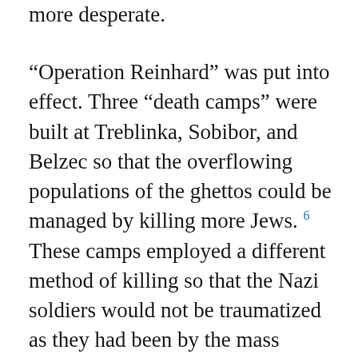more desperate.
“Operation Reinhard” was put into effect. Three “death camps” were built at Treblinka, Sobibor, and Belzec so that the overflowing populations of the ghettos could be managed by killing more Jews. 6 These camps employed a different method of killing so that the Nazi soldiers would not be traumatized as they had been by the mass shootings: the gas chamber. This process, which used carbon monoxide from a tank’s exhaust pipe, was still brutal and sometimes took up to 30 minutes for the victims to die. It was not until a soldier in an obscure prison camp in Poland accidentally knocked himself out with the